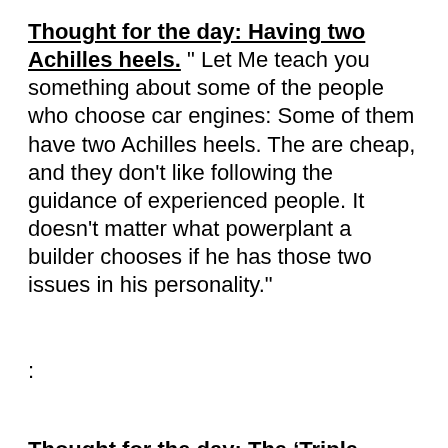Thought for the day: Having two Achilles heels. " Let Me teach you something about some of the people who choose car engines: Some of them have two Achilles heels. The are cheap, and they don't like following the guidance of experienced people. It doesn't matter what powerplant a builder chooses if he has those two issues in his personality."
:
Thought for the day: The ‘Triple crown’ of Homebuilding.” I would much rather have built a simple plane than purchase a complex one; I want to be the master of it’s power plant,